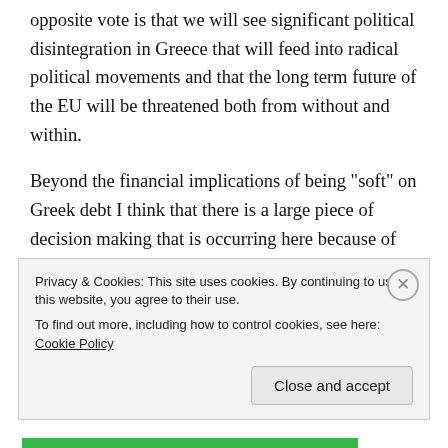opposite vote is that we will see significant political disintegration in Greece that will feed into radical political movements and that the long term future of the EU will be threatened both from without and within.
Beyond the financial implications of being “soft” on Greek debt I think that there is a large piece of decision making that is occurring here because of personal political considerations and entrenched positions of bias. That is always a poor environment for clear decision making and  timely reminder when we try to analyse these issues we must always ask the question of
Privacy & Cookies: This site uses cookies. By continuing to use this website, you agree to their use.
To find out more, including how to control cookies, see here: Cookie Policy